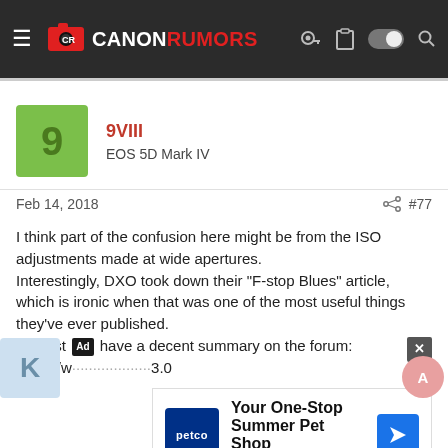Canon Rumors
9VIII
EOS 5D Mark IV
Feb 14, 2018   #77
I think part of the confusion here might be from the ISO adjustments made at wide apertures.
Interestingly, DXO took down their "F-stop Blues" article, which is ironic when that was one of the most useful things they've ever published.
At least [Ad] have a decent summary on the forum:
https://w...3.0
[Figure (screenshot): Petco advertisement banner: 'Your One-Stop Summer Pet Shop' with Petco logo and navigation arrow icon]
Advertisement